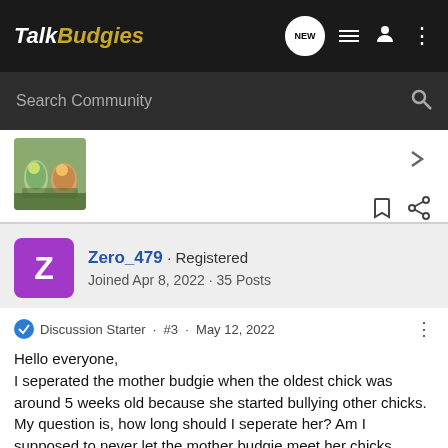TalkBudgies
Search Community
[Figure (photo): Profile avatar photo showing budgies/parakeets on a branch]
Zero_479 · Registered
Joined Apr 8, 2022 · 35 Posts
Discussion Starter · #3 · May 12, 2022
Hello everyone,
I seperated the mother budgie when the oldest chick was around 5 weeks old because she started bullying other chicks. My question is, how long should I seperate her? Am I supposed to never let the mother budgie meet her chicks again?